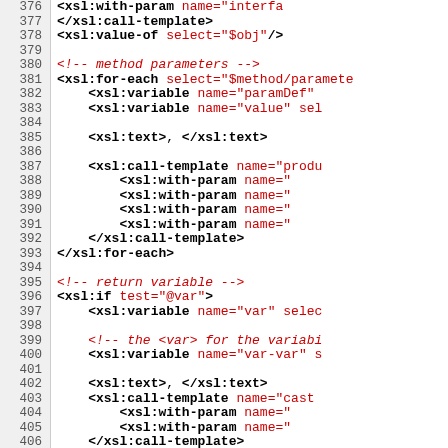[Figure (screenshot): Source code listing showing XSL template code, lines 376-406, with line numbers in grey left margin and code in black/red monospace font on white background.]